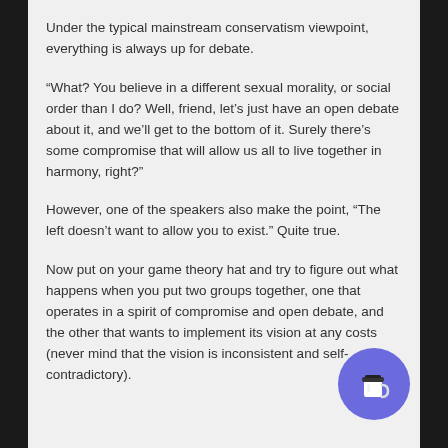Under the typical mainstream conservatism viewpoint, everything is always up for debate.
“What? You believe in a different sexual morality, or social order than I do? Well, friend, let’s just have an open debate about it, and we’ll get to the bottom of it. Surely there’s some compromise that will allow us all to live together in harmony, right?”
However, one of the speakers also make the point, “The left doesn’t want to allow you to exist.” Quite true.
Now put on your game theory hat and try to figure out what happens when you put two groups together, one that operates in a spirit of compromise and open debate, and the other that wants to implement its vision at any costs (never mind that the vision is inconsistent and self-contradictory).
[Figure (illustration): Blue circular button with a coffee cup icon in the bottom right corner]